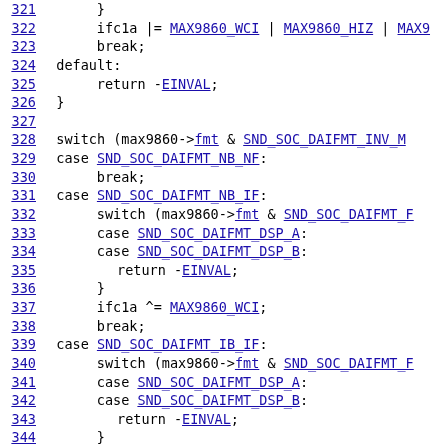Source code listing, lines 321-345, C code for audio codec driver (max9860)